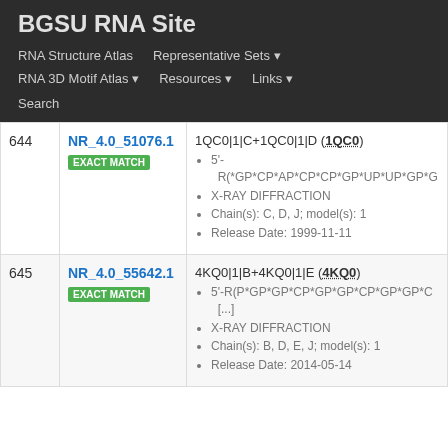BGSU RNA Site
RNA Structure Atlas | Representative Sets ▾ | RNA 3D Motif Atlas ▾ | Resources ▾ | Links ▾ | Search
| # | ID | Description |
| --- | --- | --- |
| 644 | NR_4.0_51076.1
EXACT MATCH | 1QC0|1|C+1QC0|1|D (1QC0)
• 5'-R(*GP*CP*AP*CP*CP*GP*UP*UP*GP*G
• X-RAY DIFFRACTION
• Chain(s): C, D, J; model(s): 1
• Release Date: 1999-11-11 |
| 645 | NR_4.0_55642.1
EXACT MATCH | 4KQ0|1|B+4KQ0|1|E (4KQ0)
• 5'-R(P*GP*GP*CP*GP*GP*CP*GP*GP*C [...]
• X-RAY DIFFRACTION
• Chain(s): B, D, E, J; model(s): 1
• Release Date: 2014-05-14 |